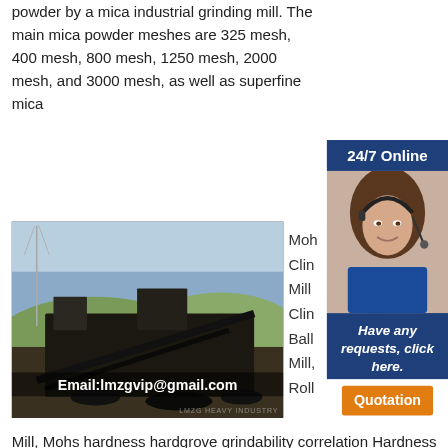powder by a mica industrial grinding mill. The main mica powder meshes are 325 mesh, 400 mesh, 800 mesh, 1250 mesh, 2000 mesh, and 3000 mesh, as well as superfine mica
[Figure (photo): Industrial mining/crushing equipment photographed outdoors with hills in background. Email: lmzgvip@gmail.com overlay text and LMZG HEAVY INDUSTRY watermark.]
Moh
Clin
Mill
Clin
Ball
Mill,
Roll
[Figure (screenshot): 24/7 Online popup sidebar with customer service representative wearing headset, 'Have any requests, click here.' text, and Quotation button.]
Mill, Mohs hardness hardgrove grindability correlation Hardness of rock in mining beltconveyers.net
[Figure (photo): Outdoor mining/quarry scene with equipment and terrain.]
Manufacturer Quality Vertical Roller mill,